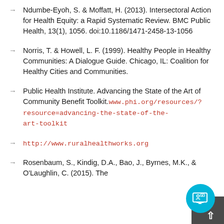Ndumbe-Eyoh, S. & Moffatt, H. (2013). Intersectoral Action for Health Equity: a Rapid Systematic Review. BMC Public Health, 13(1), 1056. doi:10.1186/1471-2458-13-1056
Norris, T. & Howell, L. F. (1999). Healthy People in Healthy Communities: A Dialogue Guide. Chicago, IL: Coalition for Healthy Cities and Communities.
Public Health Institute. Advancing the State of the Art of Community Benefit Toolkit. www.phi.org/resources/?resource=advancing-the-state-of-the-art-toolkit
http://www.ruralhealthworks.org
Rosenbaum, S., Kindig, D.A., Bao, J., Byrnes, M.K., & O'Laughlin, C. (2015). The